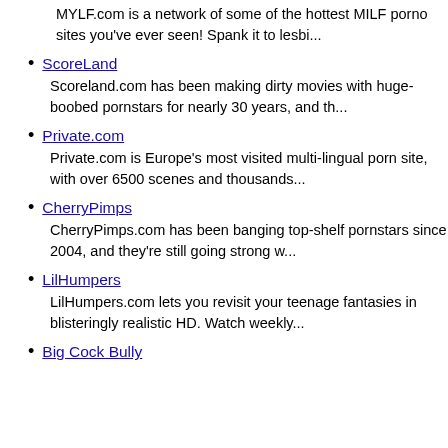MYLF.com is a network of some of the hottest MILF porno sites you've ever seen! Spank it to lesbi...
ScoreLand
Scoreland.com has been making dirty movies with huge-boobed pornstars for nearly 30 years, and th...
Private.com
Private.com is Europe's most visited multi-lingual porn site, with over 6500 scenes and thousands...
CherryPimps
CherryPimps.com has been banging top-shelf pornstars since 2004, and they're still going strong w...
LilHumpers
LilHumpers.com lets you revisit your teenage fantasies in blisteringly realistic HD. Watch weekly...
Big Cock Bully